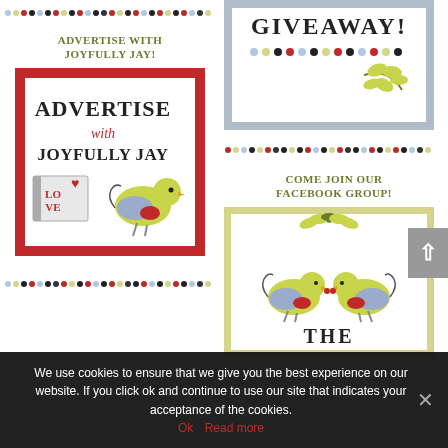[Figure (illustration): Colorful dotted row separator with multicolor dots]
[Figure (illustration): Top-right giveaway box with gray border, 'GIVEAWAY!' text and leaf illustration]
ADVERTISE WITH JOYFULLY JAY!
[Figure (illustration): Advertise with Joyfully Jay banner image with red border, book and bird illustration]
[Figure (illustration): Colorful dotted row separator at bottom left]
COME JOIN OUR FACEBOOK GROUP!
[Figure (illustration): Colorful dotted row separator at right middle]
[Figure (illustration): Facebook group box with yellow-green border showing two birds and 'THE' text]
We use cookies to ensure that we give you the best experience on our website. If you click ok and continue to use our site that indicates your acceptance of the cookies.
Ok   Read more